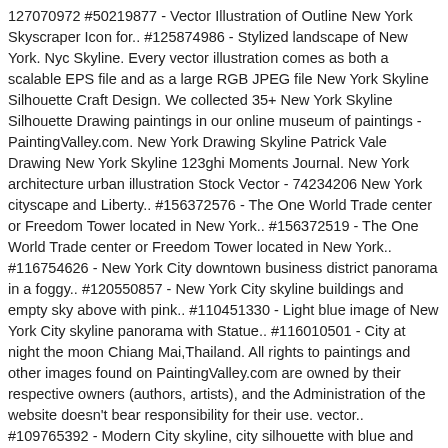127070972 #50219877 - Vector Illustration of Outline New York Skyscraper Icon for.. #125874986 - Stylized landscape of New York. Nyc Skyline. Every vector illustration comes as both a scalable EPS file and as a large RGB JPEG file New York Skyline Silhouette Craft Design. We collected 35+ New York Skyline Silhouette Drawing paintings in our online museum of paintings - PaintingValley.com. New York Drawing Skyline Patrick Vale Drawing New York Skyline 123ghi Moments Journal. New York architecture urban illustration Stock Vector - 74234206 New York cityscape and Liberty.. #156372576 - The One World Trade center or Freedom Tower located in New York.. #156372519 - The One World Trade center or Freedom Tower located in New York.. #116754626 - New York City downtown business district panorama in a foggy.. #120550857 - New York City skyline buildings and empty sky above with pink.. #110451330 - Light blue image of New York City skyline panorama with Statue.. #116010501 - City at night the moon Chiang Mai,Thailand. All rights to paintings and other images found on PaintingValley.com are owned by their respective owners (authors, artists), and the Administration of the website doesn't bear responsibility for their use. vector.. #109765392 - Modern City skyline, city silhouette with blue and yellow windows,.. #110172103 - New York hand drawn sketch. city wall decal. We have a huge range of Illustrations products available. #106591102 - New York USA skyline and landmarks detailed silhouette, black.. #35602048 - Manhattan New York sunny skyline East River sunshine NYC USA. #91613146 - Philadelphia silhouette, Pennsylvania d...